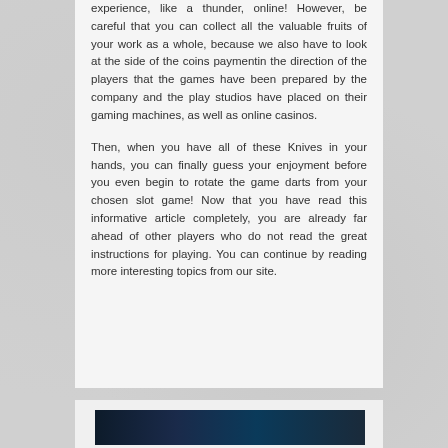experience, like a thunder, online! However, be careful that you can collect all the valuable fruits of your work as a whole, because we also have to look at the side of the coins paymentin the direction of the players that the games have been prepared by the company and the play studios have placed on their gaming machines, as well as online casinos.

Then, when you have all of these Knives in your hands, you can finally guess your enjoyment before you even begin to rotate the game darts from your chosen slot game! Now that you have read this informative article completely, you are already far ahead of other players who do not read the great instructions for playing. You can continue by reading more interesting topics from our site.
[Figure (photo): Dark image preview at the bottom of the page, appears to show a gaming-related image with dark blue/teal tones]